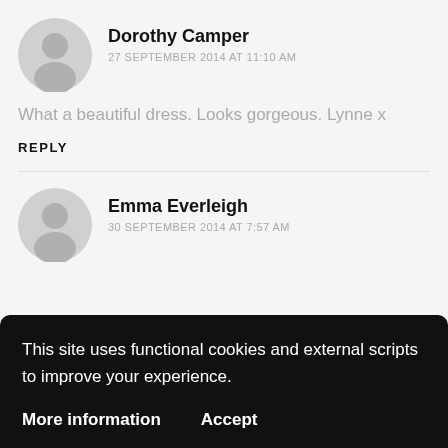Dorothy Camper
27 SEPTEMBER 2014 AT 11:10 AM
What a beautiful dress. Looks gorgeous. Lynne x
REPLY
Emma Everleigh
30 SEPTEMBER 2014 AT 7:57 AM
This site uses functional cookies and external scripts to improve your experience.
More information
Accept